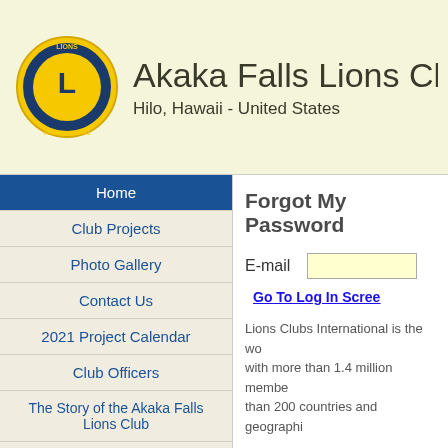Akaka Falls Lions Club - Hilo, Hawaii - United States
Home
Club Projects
Photo Gallery
Contact Us
2021 Project Calendar
Club Officers
The Story of the Akaka Falls Lions Club
The Legend of Akaka Falls
Meetings
When:
Forgot My Password
E-mail
Go To Log In Screen
Lions Clubs International is the world's largest service club organization with more than 1.4 million members in approximately more than 200 countries and geographic areas around the world.